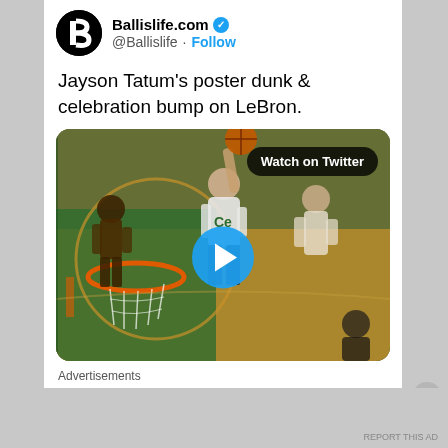Ballislife.com @Ballislife · Follow
Jayson Tatum's poster dunk & celebration bump on LeBron.
[Figure (screenshot): Video thumbnail of Jayson Tatum dunking over LeBron James in a basketball game, with a 'Watch on Twitter' pill button and a blue play button overlay]
Advertisements